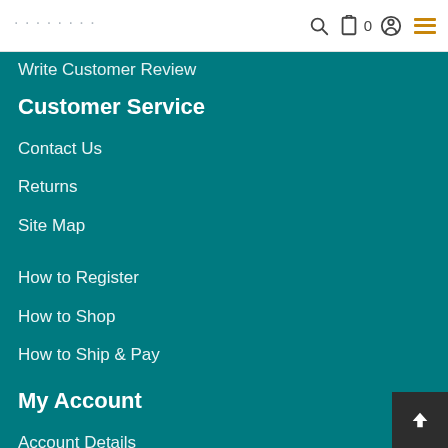0
Write Customer Review
Customer Service
Contact Us
Returns
Site Map
How to Register
How to Shop
How to Ship & Pay
My Account
Account Details
Order History
Wish List